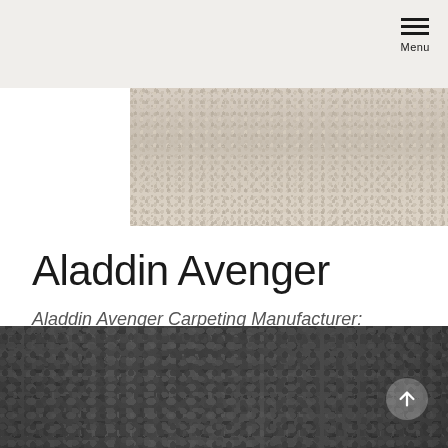Menu
[Figure (photo): Close-up texture of beige/cream colored carpet — Aladdin Avenger]
Aladdin Avenger
Aladdin Avenger Carpeting Manufacturer: Mohawk 12 ft wide Fiber- Everstrand 100% BCF P.E.T. Polyester 10 year Quality Warranty
[Figure (photo): Close-up texture of dark grey/charcoal colored carpet — Aladdin Avenger]